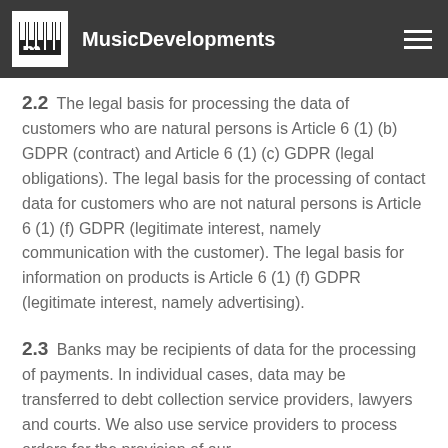MusicDevelopments
2.2 The legal basis for processing the data of customers who are natural persons is Article 6 (1) (b) GDPR (contract) and Article 6 (1) (c) GDPR (legal obligations). The legal basis for the processing of contact data for customers who are not natural persons is Article 6 (1) (f) GDPR (legitimate interest, namely communication with the customer). The legal basis for information on products is Article 6 (1) (f) GDPR (legitimate interest, namely advertising).
2.3 Banks may be recipients of data for the processing of payments. In individual cases, data may be transferred to debt collection service providers, lawyers and courts. We also use service providers to process orders for the provision of our